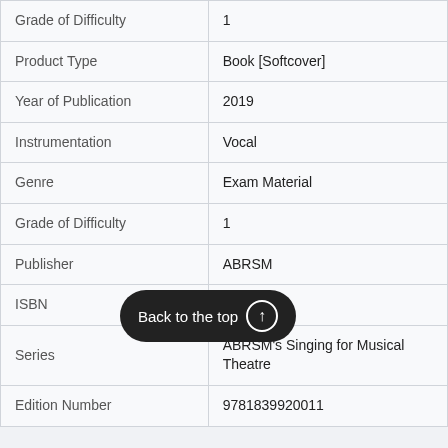| Field | Value |
| --- | --- |
| Grade of Difficulty | 1 |
| Product Type | Book [Softcover] |
| Year of Publication | 2019 |
| Instrumentation | Vocal |
| Genre | Exam Material |
| Grade of Difficulty | 1 |
| Publisher | ABRSM |
| ISBN | 97… |
| Series | ABRSM's Singing for Musical Theatre |
| Edition Number | 9781839920011 |